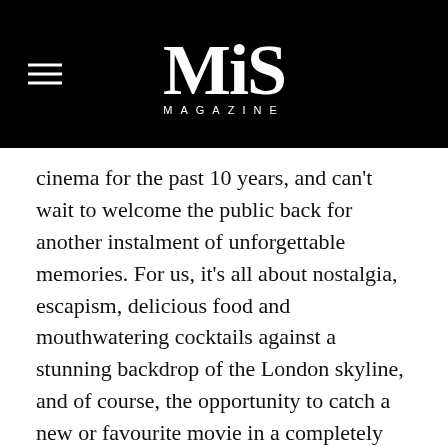MiS MAGAZINE
cinema for the past 10 years, and can't wait to welcome the public back for another instalment of unforgettable memories. For us, it's all about nostalgia, escapism, delicious food and mouthwatering cocktails against a stunning backdrop of the London skyline, and of course, the opportunity to catch a new or favourite movie in a completely unique setting."
Rooftop Film Club is delighted to renew its partnership with streaming service NOW for a second year. A partnership made in movie heaven, NOW is as passionate about curating world class cinema for their members as we are about bringing films to the big screen. From the latest blockbusters, including Fast & Furious 9 and Venom: Let There Be Carnage*, to the